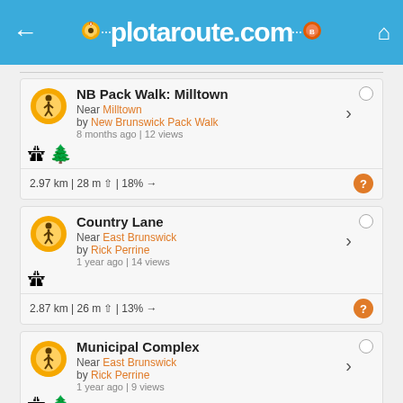plotaroute.com
NB Pack Walk: Milltown | Near Milltown | by New Brunswick Pack Walk | 8 months ago | 12 views | 2.97 km | 28 m up | 18% →
Country Lane | Near East Brunswick | by Rick Perrine | 1 year ago | 14 views | 2.87 km | 26 m up | 13% →
Municipal Complex | Near East Brunswick | by Rick Perrine | 1 year ago | 9 views | 2.28 km | 14 m up | 32% →
Great Oak/Winton Walk | Near East Brunswick